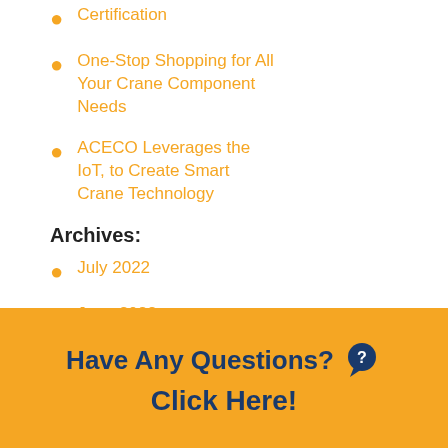Certification
One-Stop Shopping for All Your Crane Component Needs
ACECO Leverages the IoT, to Create Smart Crane Technology
Archives:
July 2022
June 2022
Have Any Questions? Click Here!